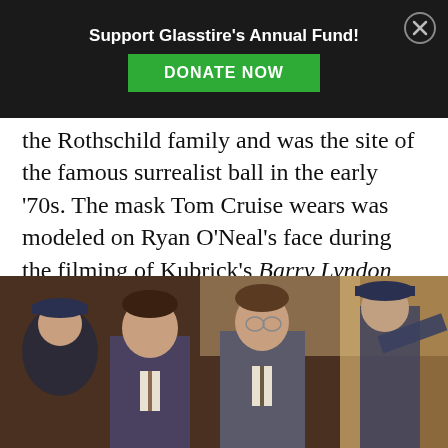Support Glasstire's Annual Fund! DONATE NOW
the Rothschild family and was the site of the famous surrealist ball in the early '70s. The mask Tom Cruise wears was modeled on Ryan O'Neal's face during the filming of Kubrick's Barry Lyndon, and so on… . The mysteries of this strange farce keep unspooling like a never-ending dream.
[Figure (photo): Film still showing men in suits, appearing to be from a period crime or drama film, with a police officer in the background.]